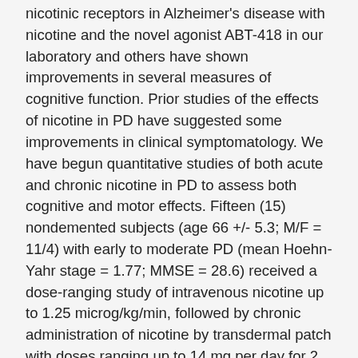nicotinic receptors in Alzheimer's disease with nicotine and the novel agonist ABT-418 in our laboratory and others have shown improvements in several measures of cognitive function. Prior studies of the effects of nicotine in PD have suggested some improvements in clinical symptomatology. We have begun quantitative studies of both acute and chronic nicotine in PD to assess both cognitive and motor effects. Fifteen (15) nondemented subjects (age 66 +/- 5.3; M/F = 11/4) with early to moderate PD (mean Hoehn-Yahr stage = 1.77; MMSE = 28.6) received a dose-ranging study of intravenous nicotine up to 1.25 microg/kg/min, followed by chronic administration of nicotine by transdermal patch with doses ranging up to 14 mg per day for 2 weeks. Testing occurred both during drug administration and up to 2 months after drug cessation to look for prolonged effects. Preliminary analysis shows improvements after acute nicotine in several areas of cognitive performance, particularly measures such as reaction time, central processing speed, and decreased tracking error. Improvements in attention and semantic